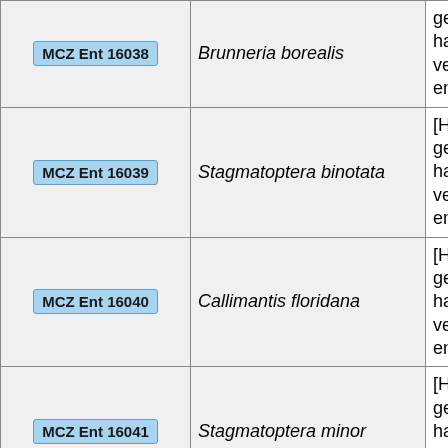| MCZ Ent 16038 | Brunneria borealis | [Higher geography: has not been verified and entered] |  |
| MCZ Ent 16039 | Stagmatoptera binotata | [Higher geography: has not been verified and entered] |  |
| MCZ Ent 16040 | Callimantis floridana | [Higher geography: has not been verified and entered] |  |
| MCZ Ent 16041 | Stagmatoptera minor | [Higher geography: has not been verified and entered] |  |
| MCZ Ent 16042 | Yersinops solitarium | [Higher geography: has not been verified and |  |